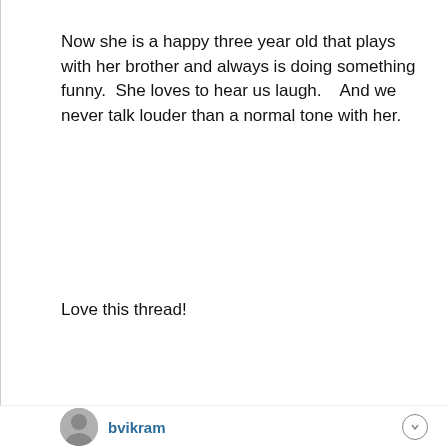Now she is a happy three year old that plays with her brother and always is doing something funny.  She loves to hear us laugh.    And we never talk louder than a normal tone with her.
Love this thread!
This site uses cookies and related technologies, as described in our privacy statement, for purposes that may include site operation, analytics, enhanced user experience, or advertising. You may choose to consent to our use of these technologies, or manage your own preferences.
Accept Cookies
More Information
Privacy Policy | Powered by: TrustArc
bvikram